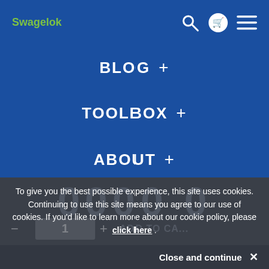Swagelok
BLOG +
TOOLBOX +
ABOUT +
To give you the best possible experience, this site uses cookies. Continuing to use this site means you agree to our use of cookies. If you'd like to learn more about our cookie policy, please click here .
Close and continue ✕